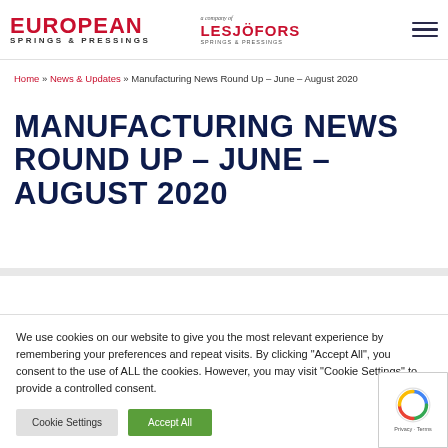EUROPEAN SPRINGS & PRESSINGS | a company of LESJÖFORS SPRINGS & PRESSINGS
Home » News & Updates » Manufacturing News Round Up – June – August 2020
MANUFACTURING NEWS ROUND UP – JUNE – AUGUST 2020
We use cookies on our website to give you the most relevant experience by remembering your preferences and repeat visits. By clicking "Accept All", you consent to the use of ALL the cookies. However, you may visit "Cookie Settings" to provide a controlled consent.